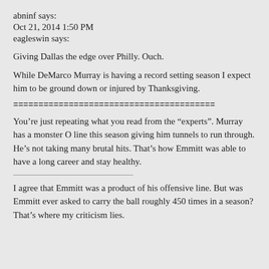abninf says:
Oct 21, 2014 1:50 PM
eagleswin says:
Giving Dallas the edge over Philly. Ouch.
While DeMarco Murray is having a record setting season I expect him to be ground down or injured by Thanksgiving.
========================================
You’re just repeating what you read from the “experts”. Murray has a monster O line this season giving him tunnels to run through. He’s not taking many brutal hits. That’s how Emmitt was able to have a long career and stay healthy.
I agree that Emmitt was a product of his offensive line. But was Emmitt ever asked to carry the ball roughly 450 times in a season? That’s where my criticism lies.